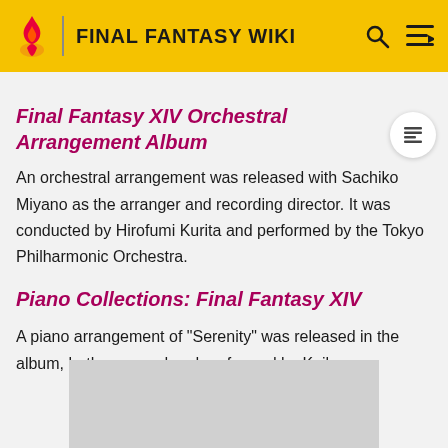FINAL FANTASY WIKI
Final Fantasy XIV Orchestral Arrangement Album
An orchestral arrangement was released with Sachiko Miyano as the arranger and recording director. It was conducted by Hirofumi Kurita and performed by the Tokyo Philharmonic Orchestra.
Piano Collections: Final Fantasy XIV
A piano arrangement of "Serenity" was released in the album, both arranged and performed by Keiko.
[Figure (photo): Gray placeholder image at bottom of page]